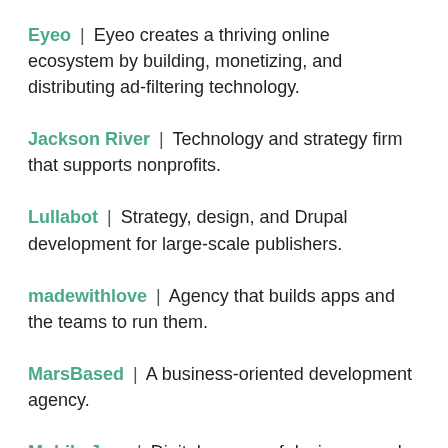Eyeo | Eyeo creates a thriving online ecosystem by building, monetizing, and distributing ad-filtering technology.
Jackson River | Technology and strategy firm that supports nonprofits.
Lullabot | Strategy, design, and Drupal development for large-scale publishers.
madewithlove | Agency that builds apps and the teams to run them.
MarsBased | A business-oriented development agency.
Mobile Jazz | Digital agency of designers and